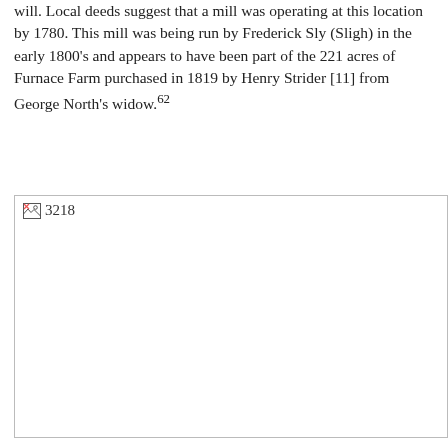will. Local deeds suggest that a mill was operating at this location by 1780. This mill was being run by Frederick Sly (Sligh) in the early 1800's and appears to have been part of the 221 acres of Furnace Farm purchased in 1819 by Henry Strider [11] from George North's widow.⁶²
[Figure (photo): Image placeholder showing broken image icon and the number 3218]